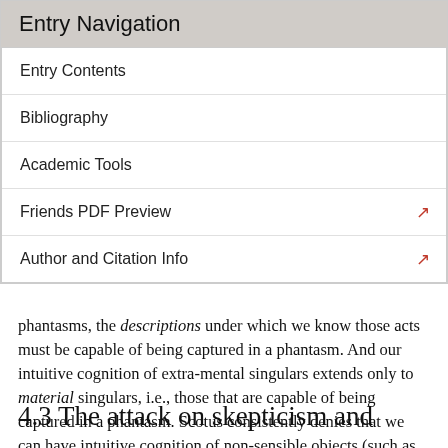Entry Navigation
Entry Contents
Bibliography
Academic Tools
Friends PDF Preview
Author and Citation Info
phantasms, the descriptions under which we know those acts must be capable of being captured in a phantasm. And our intuitive cognition of extra-mental singulars extends only to material singulars, i.e., those that are capable of being captured in a phantasm. Scotus consistently denies that we can have intuitive cognition of non-sensible objects (such as angels) or universals in this life.
4.3 The attack on skepticism and illuminationism